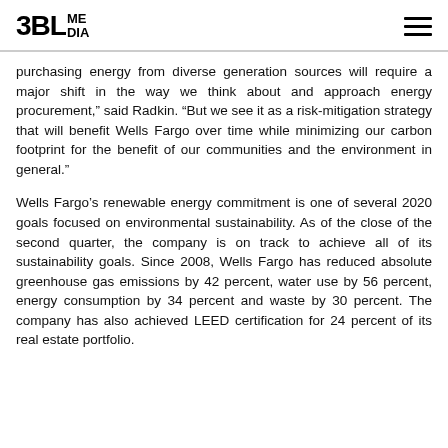3BL MEDIA
purchasing energy from diverse generation sources will require a major shift in the way we think about and approach energy procurement,” said Radkin. “But we see it as a risk-mitigation strategy that will benefit Wells Fargo over time while minimizing our carbon footprint for the benefit of our communities and the environment in general.”
Wells Fargo’s renewable energy commitment is one of several 2020 goals focused on environmental sustainability. As of the close of the second quarter, the company is on track to achieve all of its sustainability goals. Since 2008, Wells Fargo has reduced absolute greenhouse gas emissions by 42 percent, water use by 56 percent, energy consumption by 34 percent and waste by 30 percent. The company has also achieved LEED certification for 24 percent of its real estate portfolio.